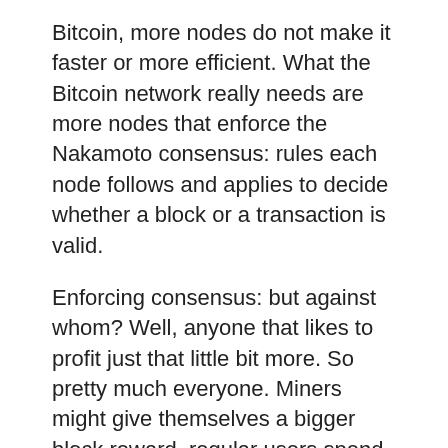Bitcoin, more nodes do not make it faster or more efficient. What the Bitcoin network really needs are more nodes that enforce the Nakamoto consensus: rules each node follows and applies to decide whether a block or a transaction is valid.
Enforcing consensus: but against whom? Well, anyone that likes to profit just that little bit more. So pretty much everyone. Miners might give themselves a bigger block reward, regular users spend the same bitcoin twice or a business tries to spend a multi-signature contract unilaterally. Why not cheat on the Lightning Network and create a transaction that ignores a timelock?
But ultimately, it comes down to the miners. While I can create and broadcast as many fake transactions as I'd like for free, a miner that includes it in a block will lose the whole block reward while bearing the full operational costs of producing that invalid block...